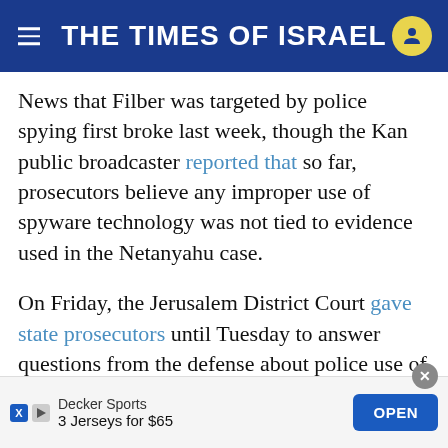THE TIMES OF ISRAEL
News that Filber was targeted by police spying first broke last week, though the Kan public broadcaster reported that so far, prosecutors believe any improper use of spyware technology was not tied to evidence used in the Netanyahu case.
On Friday, the Jerusalem District Court gave state prosecutors until Tuesday to answer questions from the defense about police use of spyware in the investigation into the former premier.
Attorneys for Netanyahu and other defendants in the case have demanded to know exactly what data was obtained by it, and whether the others involved...